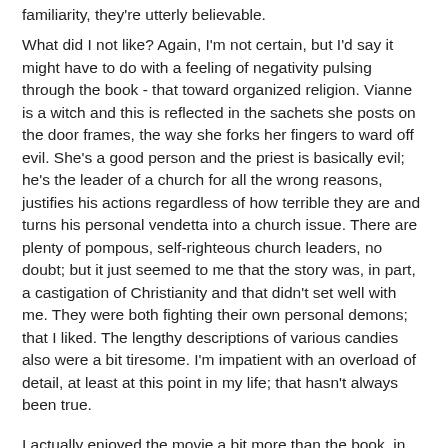familiarity, they're utterly believable.
What did I not like? Again, I'm not certain, but I'd say it might have to do with a feeling of negativity pulsing through the book - that toward organized religion. Vianne is a witch and this is reflected in the sachets she posts on the door frames, the way she forks her fingers to ward off evil. She's a good person and the priest is basically evil; he's the leader of a church for all the wrong reasons, justifies his actions regardless of how terrible they are and turns his personal vendetta into a church issue. There are plenty of pompous, self-righteous church leaders, no doubt; but it just seemed to me that the story was, in part, a castigation of Christianity and that didn't set well with me. They were both fighting their own personal demons; that I liked. The lengthy descriptions of various candies also were a bit tiresome. I'm impatient with an overload of detail, at least at this point in my life; that hasn't always been true.
I actually enjoyed the movie a bit more than the book, in many ways, as I thought the movie had a slightly lighter touch and more of a humorous spin. And, of course, it had Johnny Depp. I could only imagine him while reading the